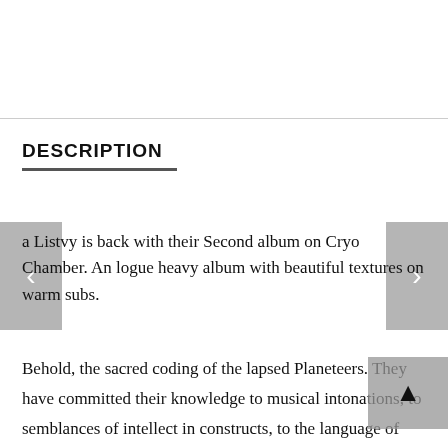DESCRIPTION
a Listvy is back with their Second album on Cryo Chamber. An logue heavy album with beautiful textures on warm subs.
Behold, the sacred coding of the lapsed Planeteers. They have committed their knowledge to musical intonations, to semblances of intellect in constructs, to the language of drones. The Saviour god-ship surface-to-air vessel has been encoded with several encrypted editions of the Preservation Directive. The divine loops of the source materials undergo their perpetual